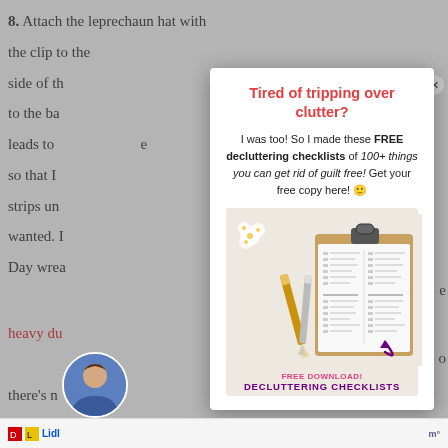8. Attach the leprechaun hat with the clip to the side of the ... to the ba... leads to ... so that l... strips un... wanted. ... Day wrea...
heavy du...
there's n...
Tired of tripping over clutter?
I was too! So I made these FREE decluttering checklists of 100+ things you can get rid of guilt free! Get your free copy here! 🙂
[Figure (photo): Clipboard with checklist papers, pencils, and white flowers on a light background. Arrow pointing to checklist with 'FREE DOWNLOAD! DECLUTTERING CHECKLISTS' text.]
FREE DOWNLOAD!
DECLUTTERING CHECKLISTS